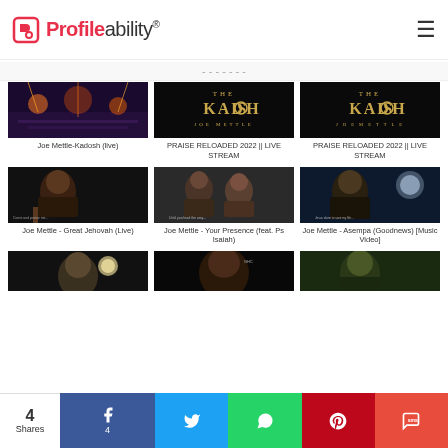Profileability®
...partial navigation text...
[Figure (photo): Joe Mettle-Kadosh (live) - concert stage with colored lights]
Joe Mettle-Kadosh (live)
[Figure (photo): THE KADOSH JOE METTLE - black and gold album art]
PRAISE RELOADED 2022 || LIVE STREAM
[Figure (photo): THE KADOSH JOE METTLE - black and gold album art (second)]
PRAISE RELOADED 2022 || LIVE STREAM
[Figure (photo): Joe Mettle - Great Jehovah (Live) - performer singing on dark stage]
Joe Mettle - Great Jehovah (Live)
[Figure (photo): Joe Mettle - Your Presence feat. Ps Isaiah - two people singing together]
Joe Mettle - Your Presence (feat. Ps Isaiah)
[Figure (photo): Joe Mettle - Asempa (Goodnews) Music Video - performer with dark background]
Joe Mettle - Asempa (Goodnews) [Music Video]
[Figure (photo): Partial thumbnail - performer with light]
[Figure (photo): Partial thumbnail - close-up performer]
[Figure (photo): Partial thumbnail - performer outdoor]
4 Shares | Facebook 4 | Twitter | WhatsApp | Pinterest | SMS